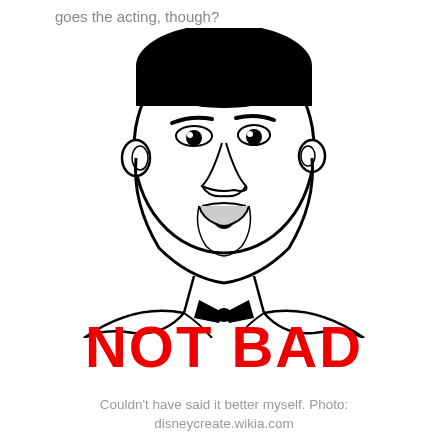goes the acting, though?
[Figure (illustration): Line-art illustration of Barack Obama in a tuxedo with bow tie, making a 'not bad' face expression (meme format). Black and white drawing with black-filled hair and bow tie.]
NOT BAD
Couldn't have said it better myself. Photo: disneycreate.wikia.com